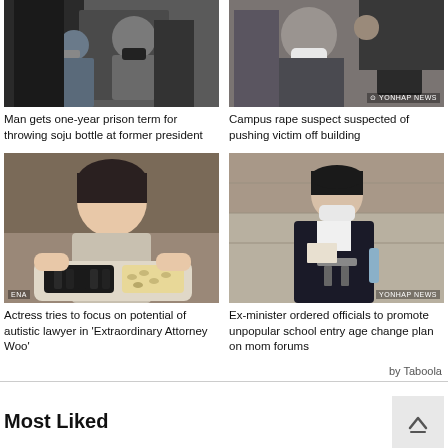[Figure (photo): People in masks, appears to be court or press scene with person in center surrounded by others]
Man gets one-year prison term for throwing soju bottle at former president
[Figure (photo): Woman in white mask surrounded by reporters with cameras, YONHAP NEWS watermark]
Campus rape suspect suspected of pushing victim off building
[Figure (photo): Young woman with bowl cut hair looking at food tray with dark rolls and beans, ENA watermark]
Actress tries to focus on potential of autistic lawyer in 'Extraordinary Attorney Woo'
[Figure (photo): Older woman in dark blazer and white mask reading statement at podium, YONHAP NEWS watermark]
Ex-minister ordered officials to promote unpopular school entry age change plan on mom forums
by Taboola
Most Liked